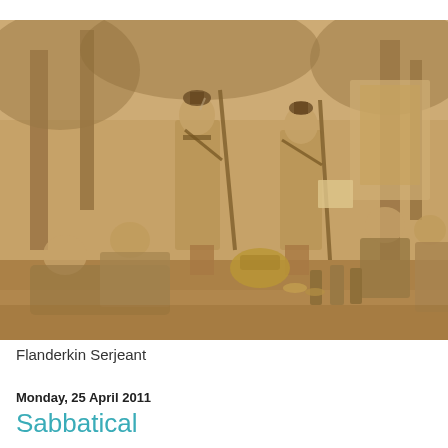[Figure (photo): A sepia-toned historical photograph of soldiers in military uniforms (appearing to be late 19th or early 20th century Flemish/Belgian soldiers) resting in a wooded area. Some soldiers are standing with rifles, while others are lounging on the ground. There is a picnic-like setting with bottles, a basket, and food items visible on the ground. Trees and foliage are visible in the background.]
Flanderkin Serjeant
Monday, 25 April 2011
Sabbatical